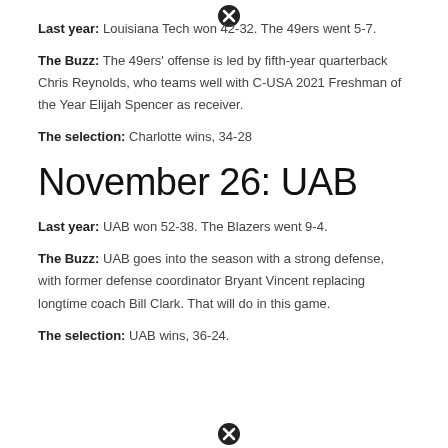Last year: Louisiana Tech won 42-32. The 49ers went 5-7.
The Buzz: The 49ers' offense is led by fifth-year quarterback Chris Reynolds, who teams well with C-USA 2021 Freshman of the Year Elijah Spencer as receiver.
The selection: Charlotte wins, 34-28
November 26: UAB
Last year: UAB won 52-38. The Blazers went 9-4.
The Buzz: UAB goes into the season with a strong defense, with former defense coordinator Bryant Vincent replacing longtime coach Bill Clark. That will do in this game.
The selection: UAB wins, 36-24.